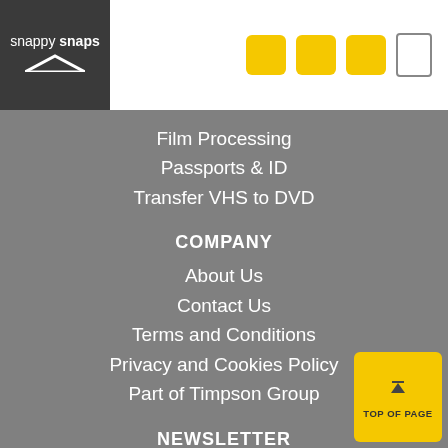[Figure (logo): Snappy Snaps logo with dark background on left and yellow header bar on right with three yellow icon buttons]
Film Processing
Passports & ID
Transfer VHS to DVD
COMPANY
About Us
Contact Us
Terms and Conditions
Privacy and Cookies Policy
Part of Timpson Group
NEWSLETTER
Enter your email address to receive news, promotions from Snappy Snaps by email. Y... out whenever you like – for more details please click